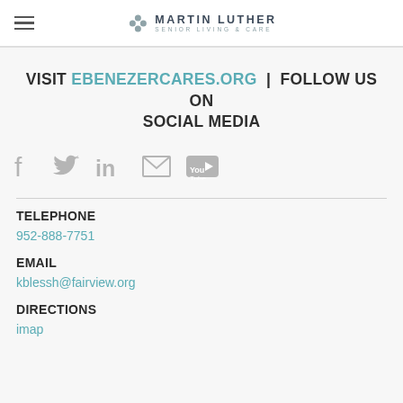MARTIN LUTHER SENIOR LIVING & CARE
VISIT EBENEZERCARES.ORG | FOLLOW US ON SOCIAL MEDIA
[Figure (illustration): Social media icons: Facebook, Twitter, LinkedIn, Email, YouTube]
TELEPHONE
952-888-7751
EMAIL
kblessh@fairview.org
DIRECTIONS
imap